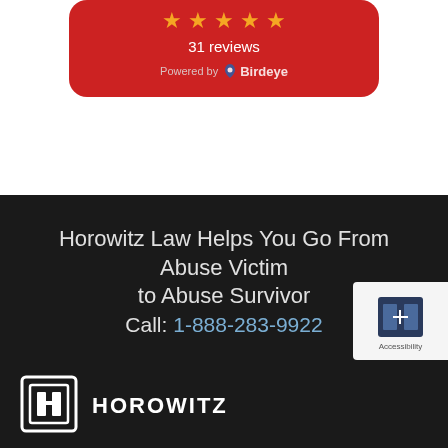[Figure (other): Red rounded card showing 5 gold stars, '31 reviews', and 'Powered by Birdeye' branding on a red background]
Horowitz Law Helps You Go From Abuse Victim
to Abuse Survivor
Call: 1-888-283-9922
[Figure (logo): Horowitz Law logo: square bracket icon with stylized H, followed by HOROWITZ text in white on dark background]